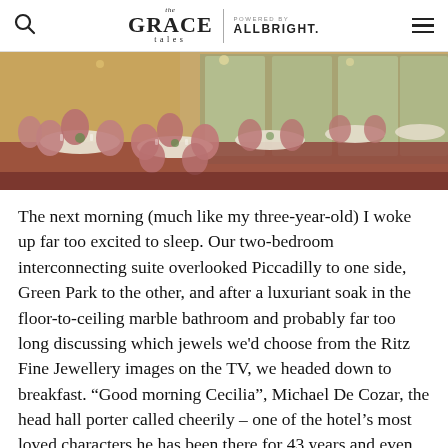The Grace Tales | POWERED BY ALLBRIGHT.
[Figure (photo): Interior of an elegant hotel dining room with round tables set with white linens, pink upholstered chairs, tall windows, and ornate gold decor along the walls.]
The next morning (much like my three-year-old) I woke up far too excited to sleep. Our two-bedroom interconnecting suite overlooked Piccadilly to one side, Green Park to the other, and after a luxuriant soak in the floor-to-ceiling marble bathroom and probably far too long discussing which jewels we'd choose from the Ritz Fine Jewellery images on the TV, we headed down to breakfast. “Good morning Cecilia”, Michael De Cozar, the head hall porter called cheerily – one of the hotel’s most loved characters he has been there for 43 years and even starred in the